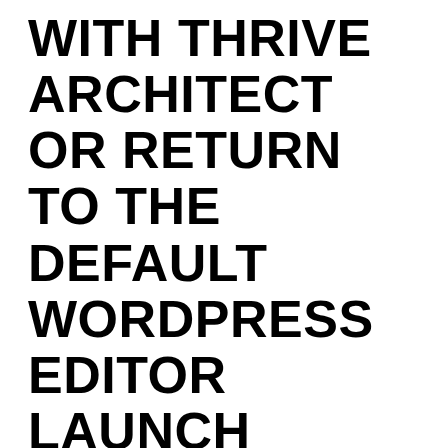WITH THRIVE ARCHITECT OR RETURN TO THE DEFAULT WORDPRESS EDITOR LAUNCH THRIVE ARCHITECT OR RETURN TO THE WP EDITOR YOU ARE CURRENTLY USING